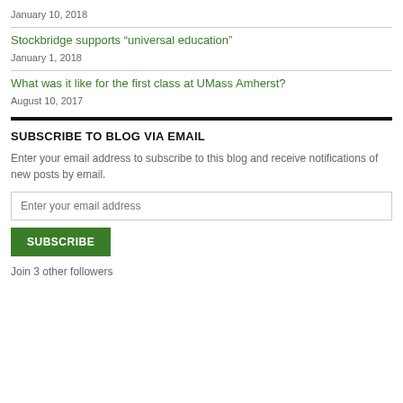January 10, 2018
Stockbridge supports “universal education”
January 1, 2018
What was it like for the first class at UMass Amherst?
August 10, 2017
SUBSCRIBE TO BLOG VIA EMAIL
Enter your email address to subscribe to this blog and receive notifications of new posts by email.
Enter your email address
SUBSCRIBE
Join 3 other followers